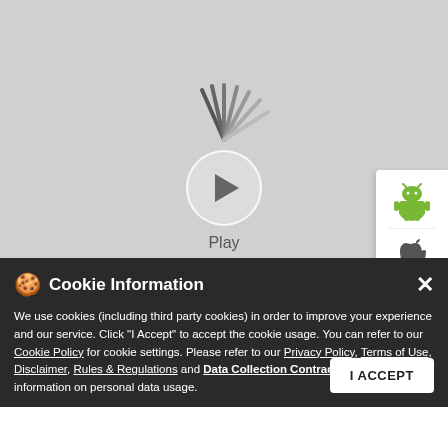[Figure (screenshot): Video player area with loading spinner and play button on grey background. Android and Apple app icons on right side panel.]
Cookie Information
We use cookies (including third party cookies) in order to improve your experience and our service. Click "I Accept" to accept the cookie usage. You can refer to our Cookie Policy for cookie settings. Please refer to our Privacy Policy, Terms of Use, Disclaimer, Rules & Regulations and Data Collection Contract or more information on personal data usage.
The inspiration for you to sign up for Indias biggest dirt biking challenge. This is your chance to be a champion. Play to win. #HeroDirtBikingChallenge
https://hdbc.in/
Ashwin Ravi #HeroDirtBikingChallenge22 #HDBC #MakeNewTracks #HDBC22 #DirtBiking #IndianDirtBikingChallenge #OffroadAdventure #HeroMotoCorp